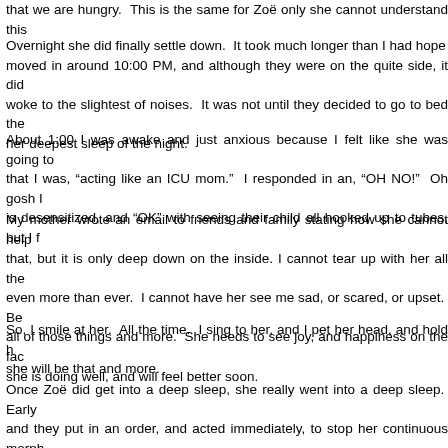that we are hungry.  This is the same for Zoë only she cannot understand this
Overnight she did finally settle down.  It took much longer than I had hoped moved in around 10:00 PM, and although they were on the quite side, it did woke to the slightest of noises.  It was not until they decided to go to bed ther her deepest sleep of the night.
About 1:00 I was awake and just anxious because I felt like she was going to that I was, "acting like an ICU mom."  I responded in an, "OH NO!"  Oh gosh I is desensitized, and "OK" with seeing their child all hooked up to tubes, but I f
My mother wrote an email to friends and family stating how she cannot help that, but it is only deep down on the inside. I cannot tear up with her all the even more than ever.  I cannot have her see me sad, or scared, or upset.  Be all of those things and more.  She needs to see joy, and happiness on the fac she is doing well, and will feel better soon.
So, I smile at her.  All the time.  I sing to her, and I pet her head, and hold h she will be that and more.
Once Zoë did get into a deep sleep, she really went into a deep sleep.  Early and they put in an order, and acted immediately, to stop her continuous morph is able to relax, and she relaxed enough to start having shallow breaths, and